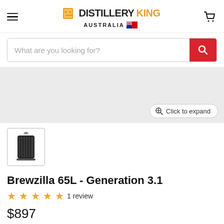DISTILLERYKING AUSTRALIA
What are you looking for?
[Figure (photo): Product image area showing a grey placeholder background with a 'Click to expand' button in the bottom right corner. A small thumbnail below shows the Brewzilla 65L Generation 3.1 brewing system - a black cylindrical unit with a handle on top.]
Brewzilla 65L - Generation 3.1
★★★★★ 1 review
$897